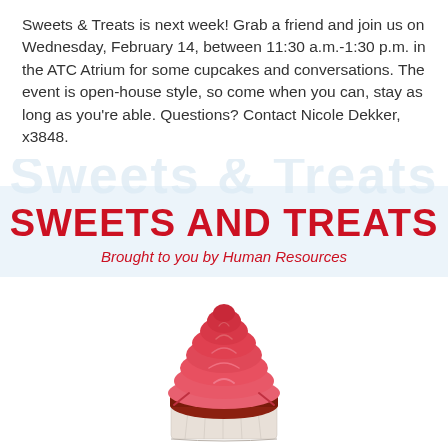Sweets & Treats is next week! Grab a friend and join us on Wednesday, February 14, between 11:30 a.m.-1:30 p.m. in the ATC Atrium for some cupcakes and conversations. The event is open-house style, so come when you can, stay as long as you're able. Questions? Contact Nicole Dekker, x3848.
SWEETS AND TREATS
Brought to you by Human Resources
[Figure (illustration): Pink frosted cupcake with swirled icing on a white paper wrapper, photographed on a white background]